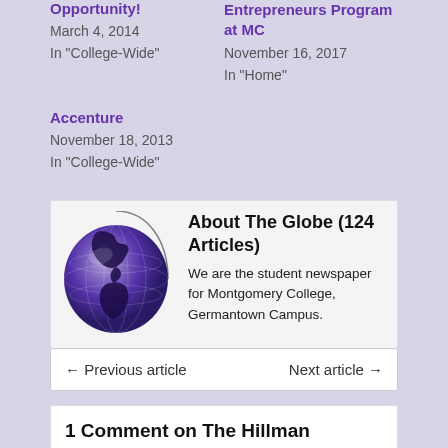Opportunity!
March 4, 2014
In "College-Wide"
Entrepreneurs Program at MC
November 16, 2017
In "Home"
Accenture
November 18, 2013
In "College-Wide"
[Figure (illustration): Globe illustration in purple/dark blue tones showing the Americas]
About The Globe (124 Articles)
We are the student newspaper for Montgomery College, Germantown Campus.
← Previous article    Next article →
1 Comment on The Hillman